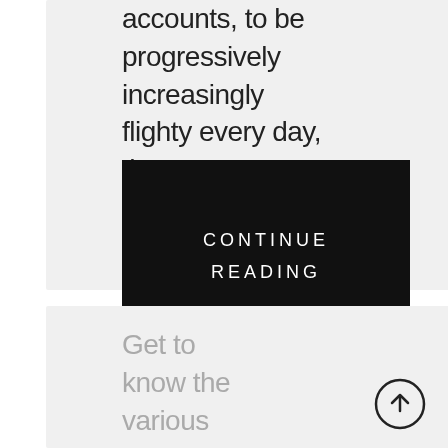accounts, to be progressively increasingly flighty every day, the
CONTINUE READING
Get to know the various